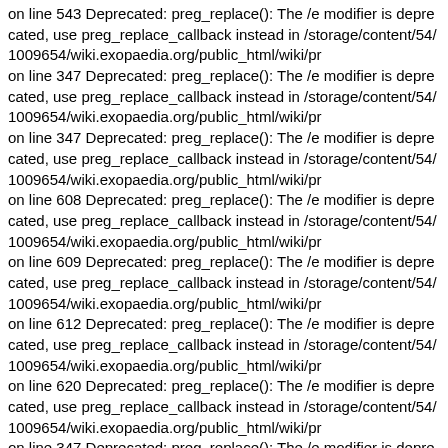on line 543 Deprecated: preg_replace(): The /e modifier is deprecated, use preg_replace_callback instead in /storage/content/54/1009654/wiki.exopaedia.org/public_html/wiki/pr on line 347 Deprecated: preg_replace(): The /e modifier is deprecated, use preg_replace_callback instead in /storage/content/54/1009654/wiki.exopaedia.org/public_html/wiki/pr on line 347 Deprecated: preg_replace(): The /e modifier is deprecated, use preg_replace_callback instead in /storage/content/54/1009654/wiki.exopaedia.org/public_html/wiki/pr on line 608 Deprecated: preg_replace(): The /e modifier is deprecated, use preg_replace_callback instead in /storage/content/54/1009654/wiki.exopaedia.org/public_html/wiki/pr on line 609 Deprecated: preg_replace(): The /e modifier is deprecated, use preg_replace_callback instead in /storage/content/54/1009654/wiki.exopaedia.org/public_html/wiki/pr on line 612 Deprecated: preg_replace(): The /e modifier is deprecated, use preg_replace_callback instead in /storage/content/54/1009654/wiki.exopaedia.org/public_html/wiki/pr on line 620 Deprecated: preg_replace(): The /e modifier is deprecated, use preg_replace_callback instead in /storage/content/54/1009654/wiki.exopaedia.org/public_html/wiki/pr on line 347 Deprecated: preg_replace(): The /e modifier is deprecated, use preg_replace_callback instead in /storage/content/54/1009654/wiki.exopaedia.org/public_html/wiki/pr on line 624 Deprecated: preg_replace(): The /e modifier is deprecated, use preg_replace_callback instead in